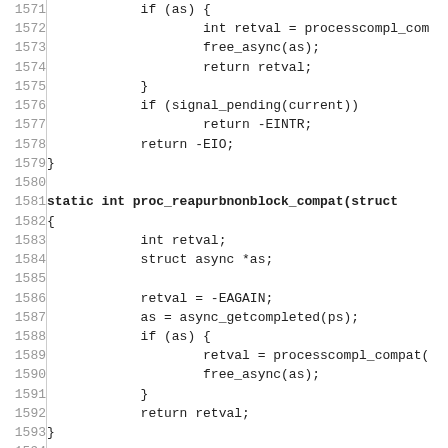Source code listing lines 1571–1600 showing C functions proc_reapurbnonblock_compat and proc_disconnectsignal